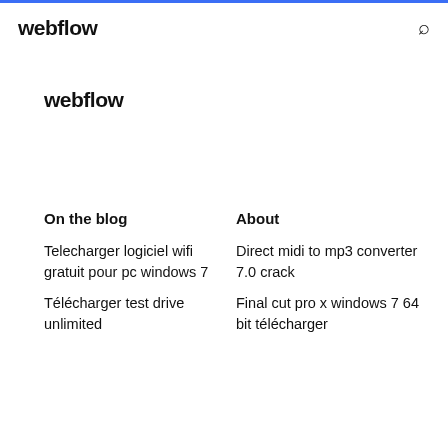webflow
webflow
On the blog
About
Telecharger logiciel wifi gratuit pour pc windows 7
Direct midi to mp3 converter 7.0 crack
Final cut pro x windows 7 64 bit télécharger
Télécharger test drive unlimited